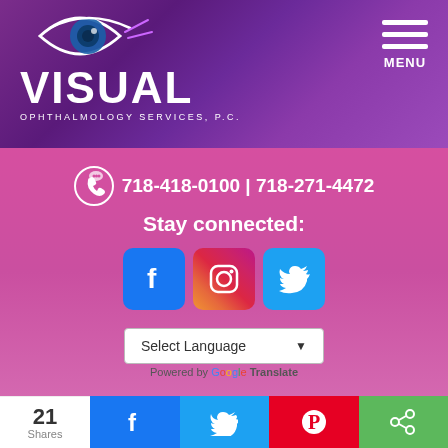[Figure (logo): Visual Ophthalmology Services P.C. logo with eye icon on purple gradient background, with hamburger menu and MENU label]
718-418-0100 | 718-271-4472
Stay connected:
[Figure (infographic): Facebook, Instagram, and Twitter social media icon buttons]
Select Language
Powered by Google Translate
[Figure (photo): Partial photo of a person at bottom of page]
21 Shares
[Figure (infographic): Share bar with Facebook, Twitter, Pinterest, and share buttons]